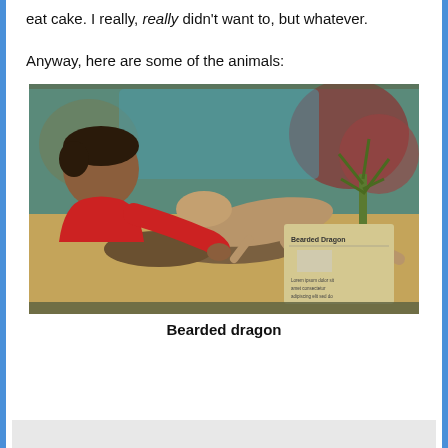eat cake. I really, really didn't want to, but whatever.
Anyway, here are some of the animals:
[Figure (photo): A child in a red sweater looking at a bearded dragon in a terrarium exhibit, with a sign reading 'Bearded Dragon' visible on the glass.]
Bearded dragon